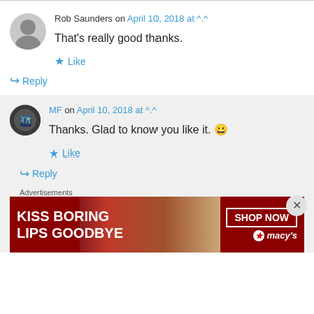Rob Saunders on April 10, 2018 at ^.^
That's really good thanks.
★ Like
↪ Reply
MF on April 10, 2018 at ^.^
Thanks. Glad to know you like it. 😀
★ Like
↪ Reply
Advertisements
[Figure (photo): Macy's ad banner: KISS BORING LIPS GOODBYE with SHOP NOW button and Macy's logo, with woman's lips photo]